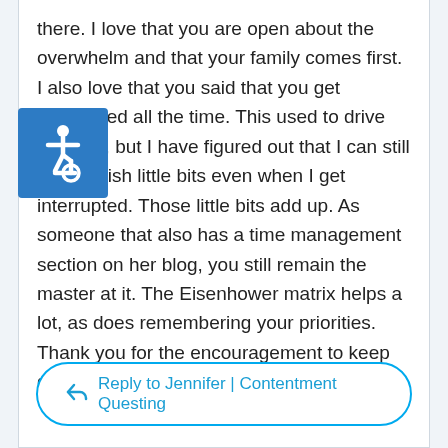there. I love that you are open about the overwhelm and that your family comes first. I also love that you said that you get interrupted all the time. This used to drive me nuts, but I have figured out that I can still accomplish little bits even when I get interrupted. Those little bits add up. As someone that also has a time management section on her blog, you still remain the master at it. The Eisenhower matrix helps a lot, as does remembering your priorities. Thank you for the encouragement to keep going! You are amazing! <3
[Figure (other): Wheelchair accessibility icon — white wheelchair symbol on blue square background]
Reply to Jennifer | Contentment Questing